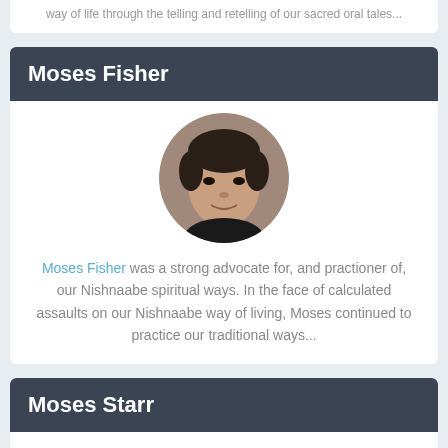way of life through the telling and retelling of our sacred oral tales...
Moses Fisher
[Figure (photo): Circular portrait photo of Moses Fisher, a man with dark hair.]
Moses Fisher was a strong advocate for, and practioner of, our Nishnaabe spiritual ways. In the face of calculated assaults on our Nishnaabe way of living, Moses continued to practice our traditional ways...
Moses Starr
[Figure (photo): Circular portrait photo of Moses Starr, an older man with grey hair, smiling.]